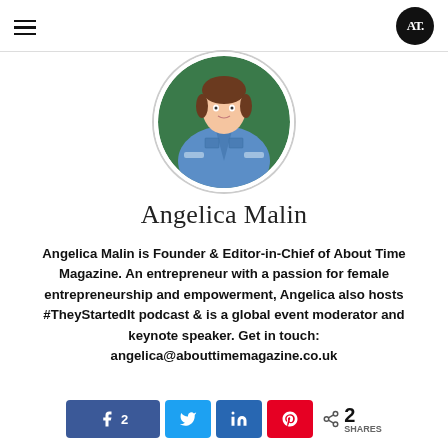About Time Magazine — navigation header with hamburger menu and AT logo
[Figure (photo): Circular profile photo of Angelica Malin wearing a blue denim jacket, cropped at torso, green background]
Angelica Malin
Angelica Malin is Founder & Editor-in-Chief of About Time Magazine. An entrepreneur with a passion for female entrepreneurship and empowerment, Angelica also hosts #TheyStartedIt podcast & is a global event moderator and keynote speaker. Get in touch: angelica@abouttimemagazine.co.uk
2 SHARES — Facebook 2, Twitter, LinkedIn, Pinterest share buttons